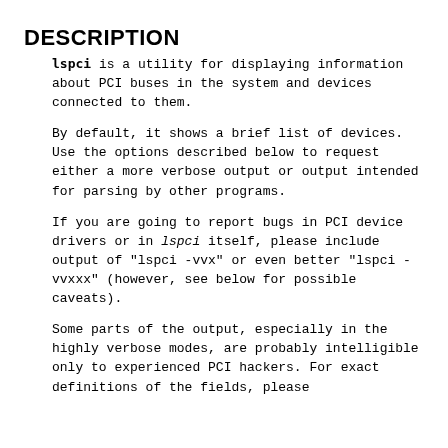DESCRIPTION
lspci is a utility for displaying information about PCI buses in the system and devices connected to them.
By default, it shows a brief list of devices. Use the options described below to request either a more verbose output or output intended for parsing by other programs.
If you are going to report bugs in PCI device drivers or in lspci itself, please include output of "lspci -vvx" or even better "lspci -vvxxx" (however, see below for possible caveats).
Some parts of the output, especially in the highly verbose modes, are probably intelligible only to experienced PCI hackers. For exact definitions of the fields, please consult the PCI specifications or...